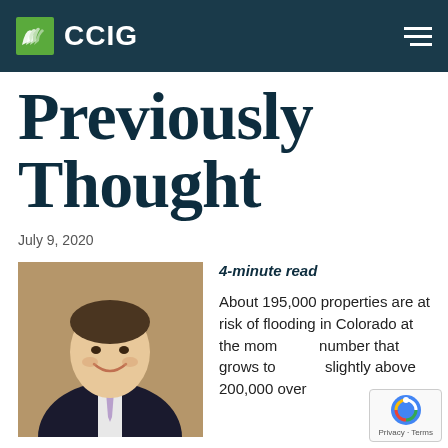CCIG
Previously Thought
July 9, 2020
[Figure (photo): Professional headshot of a man in a dark suit and purple tie, smiling, against a tan/brown background]
4-minute read
About 195,000 properties are at risk of flooding in Colorado at the moment, a number that grows to slightly above 200,000 over